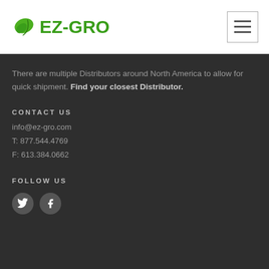[Figure (logo): EZ-GRO logo with green leaf icon and green text]
There are multiple Distributors around North America to allow for quick shipment. Find your closest Distributor.
CONTACT US
info@ez-gro.com
T: 877.544.4769
F: 613.384.0662
FOLLOW US
[Figure (illustration): Twitter and Facebook social media icon circles]